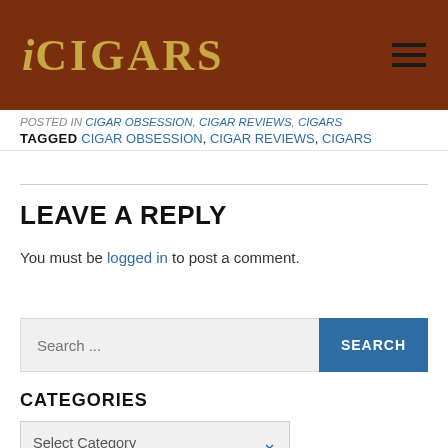iCIGARS
POSTED IN CIGAR OBSESSION, CIGAR REVIEWS, CIGARS
TAGGED CIGAR OBSESSION, CIGAR REVIEWS, CIGARS
LEAVE A REPLY
You must be logged in to post a comment.
Search ...
CATEGORIES
Select Category